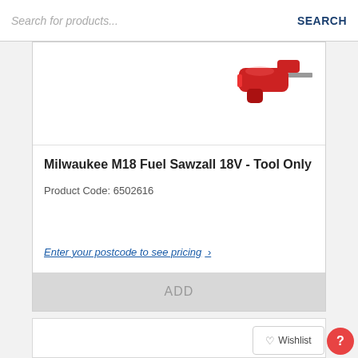Search for products...   SEARCH
[Figure (photo): Partial view of a Milwaukee M18 Fuel Sawzall power tool in red color, top portion visible]
Milwaukee M18 Fuel Sawzall 18V - Tool Only
Product Code: 6502616
Enter your postcode to see pricing >
ADD
[Figure (photo): Partial view of another product card at the bottom of the page]
Wishlist